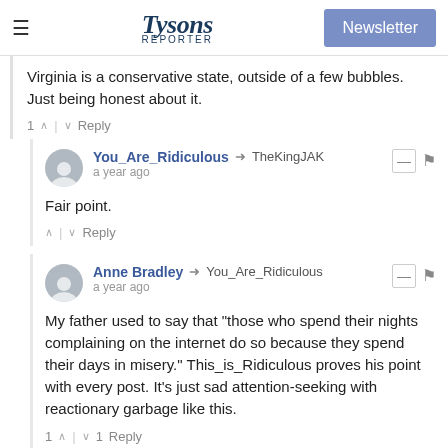Tysons Reporter | Newsletter
Virginia is a conservative state, outside of a few bubbles. Just being honest about it.
1 ^ | v Reply
You_Are_Ridiculous → TheKingJAK
a year ago
Fair point.
^ | v Reply
Anne Bradley → You_Are_Ridiculous
a year ago
My father used to say that "those who spend their nights complaining on the internet do so because they spend their days in misery." This_is_Ridiculous proves his point with every post. It's just sad attention-seeking with reactionary garbage like this.
1 ^ | v 1 Reply